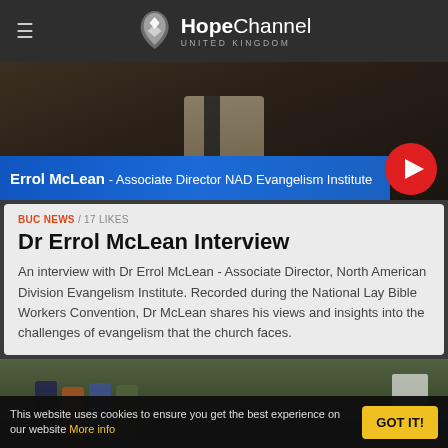HopeChannel UNITED KINGDOM
[Figure (screenshot): Video thumbnail showing Dr Errol McLean with blue banner overlay reading 'Errol McLean - Associate Director NAD Evangelism Institute' and a red play button]
BUC NEWS / 17 LIKES
Dr Errol McLean Interview
An interview with Dr Errol McLean - Associate Director, North American Division Evangelism Institute. Recorded during the National Lay Bible Workers Convention, Dr McLean shares his views and insights into the challenges of evangelism that the church faces.
[Figure (photo): Outdoor scene with group of people standing in front of trees]
This website uses cookies to ensure you get the best experience on our website More info GOT IT!